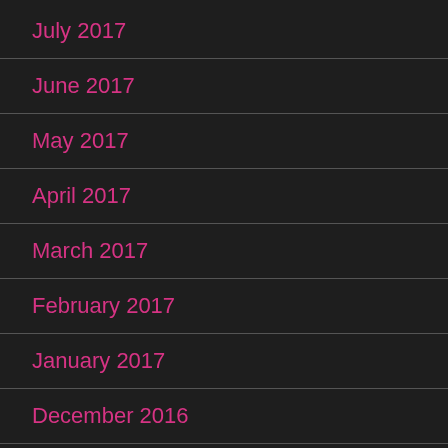July 2017
June 2017
May 2017
April 2017
March 2017
February 2017
January 2017
December 2016